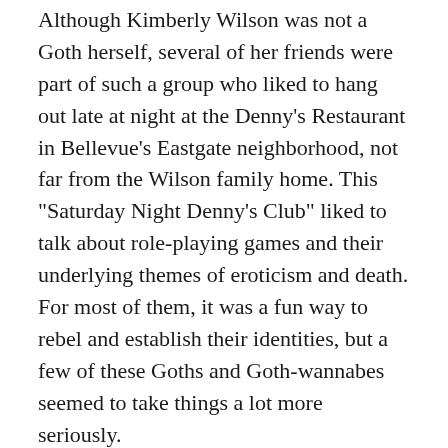Although Kimberly Wilson was not a Goth herself, several of her friends were part of such a group who liked to hang out late at night at the Denny's Restaurant in Bellevue's Eastgate neighborhood, not far from the Wilson family home. This "Saturday Night Denny's Club" liked to talk about role-playing games and their underlying themes of eroticism and death. For most of them, it was a fun way to rebel and establish their identities, but a few of these Goths and Goth-wannabes seemed to take things a lot more seriously.
Detectives learned that two fringe members of the "Saturday Night Denny's Club," Alex Baranyi and his best friend, David Anderson, both 17, had often talked about committing murder. Their friends just sloughed it off as idle ravings.